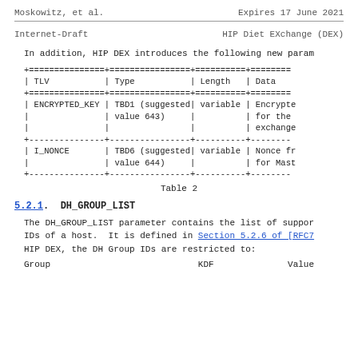Moskowitz, et al.    Expires 17 June 2021
Internet-Draft    HIP Diet EXchange (DEX)
In addition, HIP DEX introduces the following new param
| TLV | Type | Length | Data |
| --- | --- | --- | --- |
| ENCRYPTED_KEY | TBD1 (suggested value 643) | variable | Encrypted for the exchange |
| I_NONCE | TBD6 (suggested value 644) | variable | Nonce fr for Mast |
Table 2
5.2.1.  DH_GROUP_LIST
The DH_GROUP_LIST parameter contains the list of suppor IDs of a host.  It is defined in Section 5.2.6 of [RFC7 HIP DEX, the DH Group IDs are restricted to:
Group                         KDF              Value